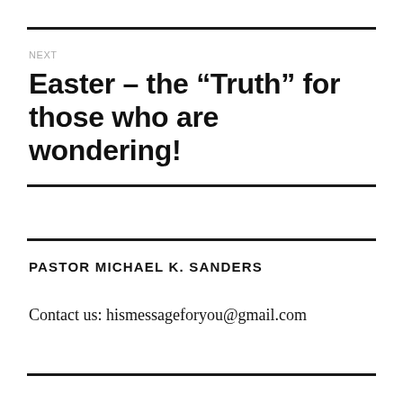NEXT
Easter – the “Truth” for those who are wondering!
PASTOR MICHAEL K. SANDERS
Contact us: hismessageforyou@gmail.com